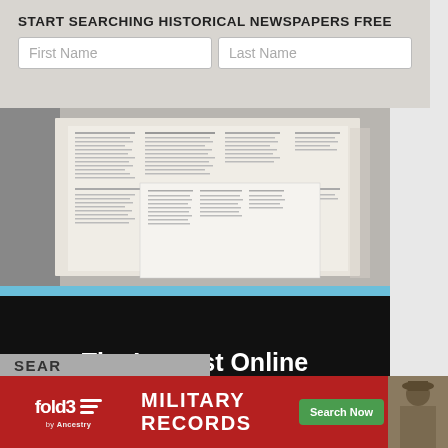START SEARCHING HISTORICAL NEWSPAPERS FREE
[Figure (screenshot): Search form with First Name and Last Name input fields on a gray background]
[Figure (photo): Old historical newspaper pages spread out on a gray surface]
[Figure (infographic): Black banner ad with white text reading 'The Largest Online Newspaper Archive' and a light blue 'Search Now' button]
[Figure (screenshot): Bottom gray section with 'SEARCH' text partially visible]
[Figure (infographic): Fold3 Military Records advertisement banner with red background, fold3 logo, 'MILITARY RECORDS' text, green Search Now button, and soldier image]